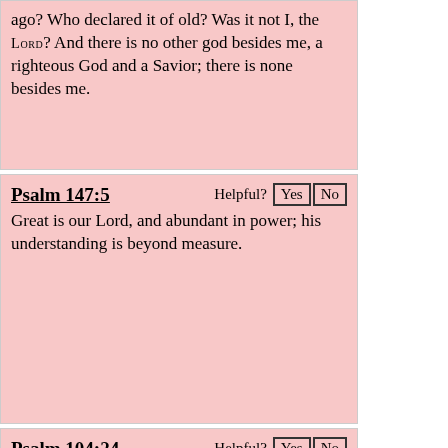ago? Who declared it of old? Was it not I, the Lord? And there is no other god besides me, a righteous God and a Savior; there is none besides me.
Psalm 147:5
Great is our Lord, and abundant in power; his understanding is beyond measure.
Psalm 104:24
O Lord, how manifold are your works! In wisdom have you made them all; the earth is full of your creatures.